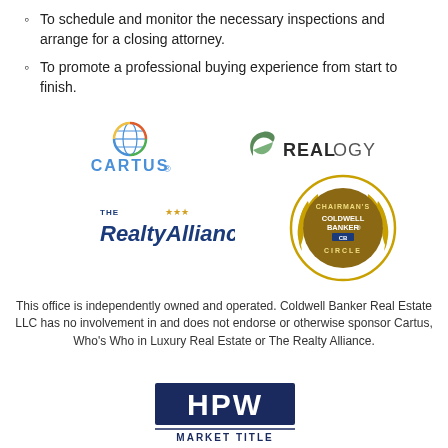To schedule and monitor the necessary inspections and arrange for a closing attorney.
To promote a professional buying experience from start to finish.
[Figure (logo): Cartus logo with globe icon]
[Figure (logo): Realogy logo with leaf swirl icon]
[Figure (logo): The Realty Alliance logo with blue text and gold stars]
[Figure (logo): Chairman's Coldwell Banker Circle badge with gold laurel wreath]
This office is independently owned and operated. Coldwell Banker Real Estate LLC has no involvement in and does not endorse or otherwise sponsor Cartus, Who's Who in Luxury Real Estate or The Realty Alliance.
[Figure (logo): HPW Market Title logo - dark blue rectangle with white HPW text and MARKET TITLE below]